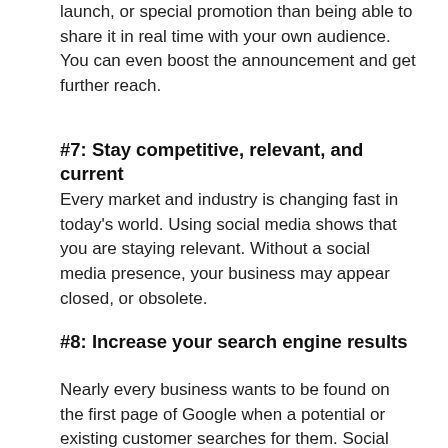launch, or special promotion than being able to share it in real time with your own audience.  You can even boost the announcement and get further reach.
#7: Stay competitive, relevant, and current
Every market and industry is changing fast in today’s world.  Using social media shows that you are staying relevant. Without a social media presence, your business may appear closed, or obsolete.
#8: Increase your search engine results
Nearly every business wants to be found on the first page of Google when a potential or existing customer searches for them.  Social media profiles are indexed by Google, and using Google My Business as a platform will improve your results.